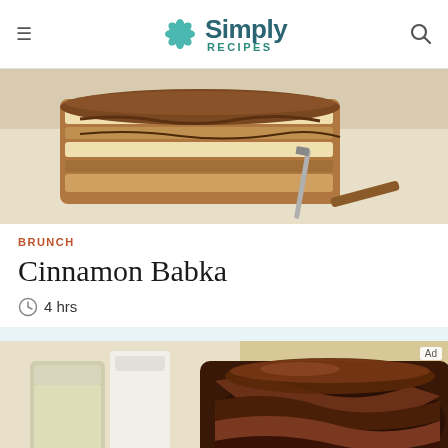Simply Recipes
[Figure (photo): Sliced cinnamon babka bread on a white surface with a cinnamon stick, top-down angled view]
BRUNCH
Cinnamon Babka
4 hrs
[Figure (photo): Dark chocolate babka loaf with swirled layers, partially sliced, next to a glass of milk]
We help people find answers, solve problems and get inspired.
[Figure (logo): Dotdash Meredith logo with red D circle and colorful dots icon]